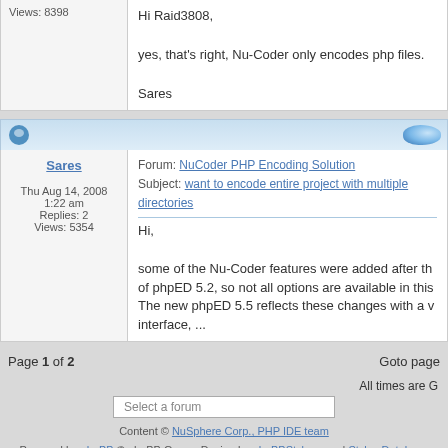Views: 8398
Hi Raid3808,

yes, that's right, Nu-Coder only encodes php files.

Sares
Sares
Thu Aug 14, 2008 1:22 am
Replies: 2
Views: 5354
Forum: NuCoder PHP Encoding Solution
Subject: want to encode entire project with multiple directories

Hi,

some of the Nu-Coder features were added after the release of phpED 5.2, so not all options are available in this... The new phpED 5.5 reflects these changes with a v interface, ...
Page 1 of 2
Goto page
All times are G
Select a forum
Content © NuSphere Corp., PHP IDE team
Powered by phpBB © phpBB Group, Design by phpBBStyles.com | Styles Database
Powered by PHP EXPRESS 3.0